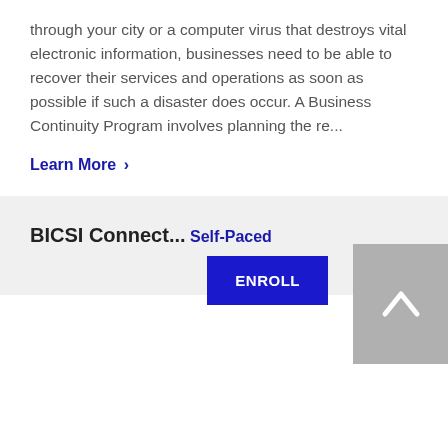through your city or a computer virus that destroys vital electronic information, businesses need to be able to recover their services and operations as soon as possible if such a disaster does occur. A Business Continuity Program involves planning the re...
Learn More >
BICSI Connect...
Self-Paced
ENROLL